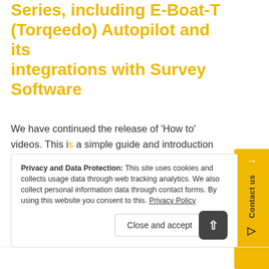Series, including E-Boat-T (Torqeedo) Autopilot and its integrations with Survey Software
We have continued the release of 'How to' videos. This is a simple guide and introduction to the E-Boat-Series autopilots including fitting an E-Boat-T (Torqeedo Interface). This video shows how small electric boats can be designed, or converted, to use Dynautics E-Boat series of lower power consuming but powerful autopilo...
Privacy and Data Protection: This site uses cookies and collects usage data through web tracking analytics. We also collect personal information data through contact forms. By using this website you consent to this. Privacy Policy